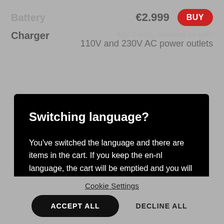Battery
€2.999  BUY
Charger
48V 2 amp, operates on both 110V and 230V AC power outlets
Switching language?
You've switched the language and there are items in the cart. If you keep the en-nl language, the cart will be emptied and you will have to add the items again to the cart.
KEEP EN-NL
SWITCH BACK TO EN-DK
Cookie Settings
ACCEPT ALL
DECLINE ALL